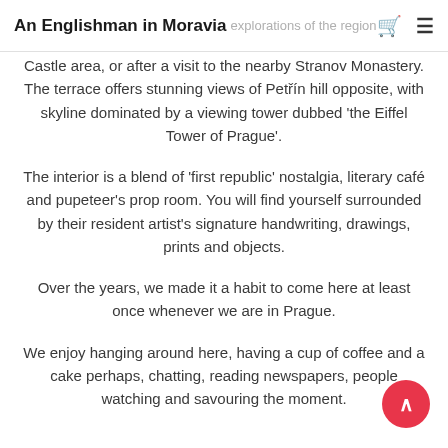An Englishman in Moravia — explorations of the region
Castle area, or after a visit to the nearby Stranov Monastery. The terrace offers stunning views of Petřín hill opposite, with skyline dominated by a viewing tower dubbed 'the Eiffel Tower of Prague'.
The interior is a blend of 'first republic' nostalgia, literary café and pupeteer's prop room. You will find yourself surrounded by their resident artist's signature handwriting, drawings, prints and objects.
Over the years, we made it a habit to come here at least once whenever we are in Prague.
We enjoy hanging around here, having a cup of coffee and a cake perhaps, chatting, reading newspapers, people watching and savouring the moment.